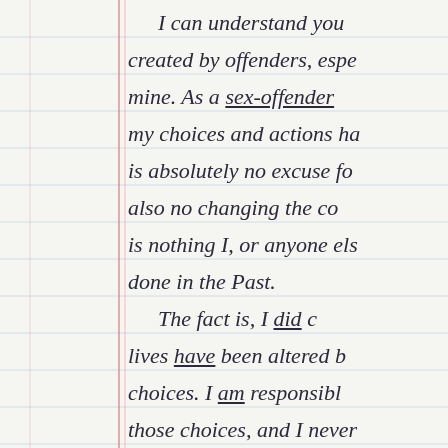I can understand you created by offenders, espe mine. As a sex-offender my choices and actions ha is absolutely no excuse fo also no changing the co is nothing I, or anyone els done in the Past.
    The fact is, I did c lives have been altered b choices. I am responsibl those choices, and I never the victims will not. So